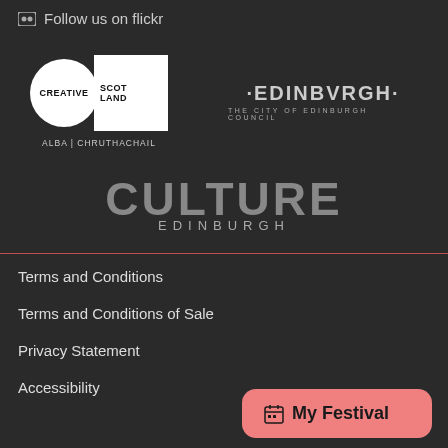Follow us on flickr
[Figure (logo): Creative Scotland logo — circle with 'CREATIVE' text and square with 'SCOTLAND' text, with tagline 'ALBA | CHRUTHACHAIL']
[Figure (logo): Edinburgh City Council logo — text reading '·EDINBVRGH·' with 'THE CITY OF EDINBURGH COUNCIL' below]
[Figure (logo): Culture Edinburgh logo — large bold 'CULTURE' text with 'EDINBURGH' below]
Terms and Conditions
Terms and Conditions of Sale
Privacy Statement
Accessibility
[Figure (other): My Festival button — coral/salmon rounded rectangle with calendar icon and bold text 'My Festival']